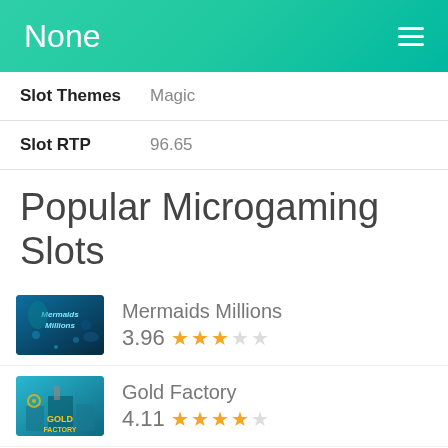None
| Slot Themes | Magic |
| Slot RTP | 96.65 |
Popular Microgaming Slots
[Figure (screenshot): Mermaids Millions slot game thumbnail — underwater scene with mermaid and treasure]
Mermaids Millions
3.96 ★★★☆☆
[Figure (screenshot): Gold Factory slot game thumbnail — colorful factory scene with Gold Factory logo]
Gold Factory
4.11 ★★★★☆